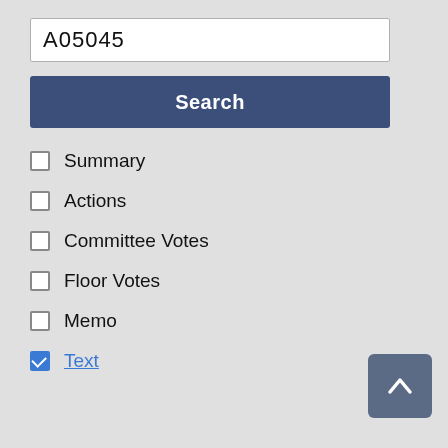A05045
Search
Summary
Actions
Committee Votes
Floor Votes
Memo
Text